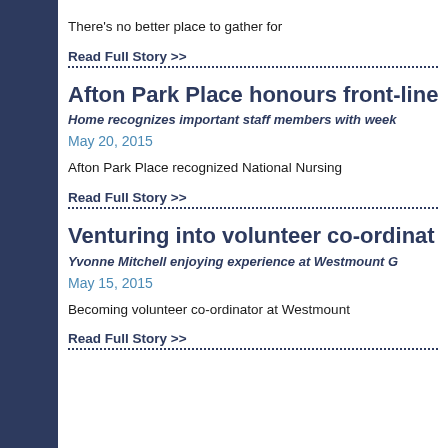There's no better place to gather for
Read Full Story >>
Afton Park Place honours front-line
Home recognizes important staff members with week
May 20, 2015
Afton Park Place recognized National Nursing
Read Full Story >>
Venturing into volunteer co-ordinat
Yvonne Mitchell enjoying experience at Westmount G
May 15, 2015
Becoming volunteer co-ordinator at Westmount
Read Full Story >>